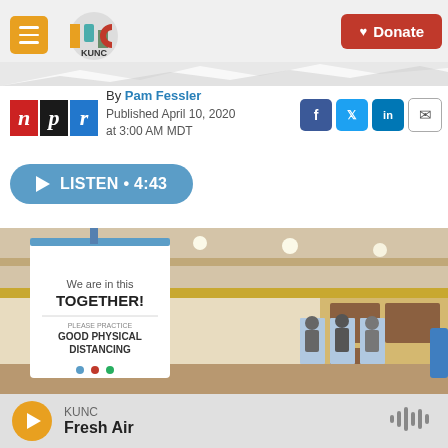KUNC | Donate
By Pam Fessler
Published April 10, 2020 at 3:00 AM MDT
[Figure (other): NPR logo — red box with white n, black box with white p, blue box with white r]
[Figure (other): Social sharing icons for Facebook, Twitter, LinkedIn, and Email]
LISTEN • 4:43
[Figure (photo): A gymnasium used as a polling place with a sign reading 'We are in this TOGETHER! PLEASE PRACTICE GOOD PHYSICAL DISTANCING'. Voters are seen in the background at voting booths.]
KUNC
Fresh Air